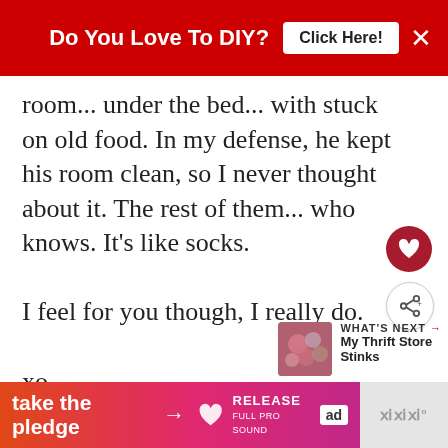Do You Love To DIY? Click Here!
room... under the bed... with stuck on old food. In my defense, he kept his room clean, so I never thought about it. The rest of them... who knows. It's like socks.

I feel for you though, I really do.

xo
REPLY DELETE
▼ REPLIES
[Figure (other): What's Next thumbnail with floral image and text: WHAT'S NEXT → My Thrift Store Stinks]
[Figure (other): Advertisement banner: take the pledge →]